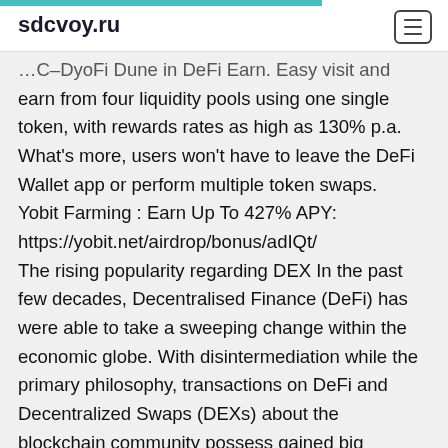sdcvoy.ru
…C–DyoFi Dune in DeFi Earn. Easy visit and earn from four liquidity pools using one single token, with rewards rates as high as 130% p.a. What's more, users won't have to leave the DeFi Wallet app or perform multiple token swaps. Yobit Farming : Earn Up To 427% APY: https://yobit.net/airdrop/bonus/adIQt/ The rising popularity regarding DEX In the past few decades, Decentralised Finance (DeFi) has were able to take a sweeping change within the economic globe. With disintermediation while the primary philosophy, transactions on DeFi and Decentralized Swaps (DEXs) about the blockchain community possess gained big recognition.